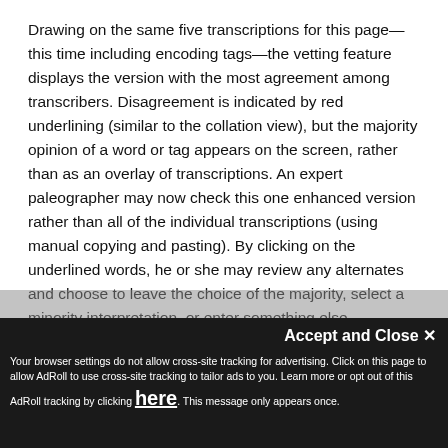Drawing on the same five transcriptions for this page—this time including encoding tags—the vetting feature displays the version with the most agreement among transcribers. Disagreement is indicated by red underlining (similar to the collation view), but the majority opinion of a word or tag appears on the screen, rather than as an overlay of transcriptions. An expert paleographer may now check this one enhanced version rather than all of the individual transcriptions (using manual copying and pasting). By clicking on the underlined words, he or she may review any alternates and choose to leave the choice of the majority, select a minority interpretation, or enter something else.
Accept and Close ✕ Your browser settings do not allow cross-site tracking for advertising. Click on this page to allow AdRoll to use cross-site tracking to tailor ads to you. Learn more or opt out of this AdRoll tracking by clicking here. This message only appears once.